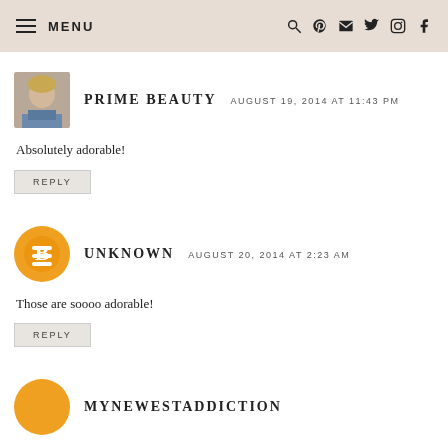MENU
PRIME BEAUTY   AUGUST 19, 2014 AT 11:43 PM
Absolutely adorable!
REPLY
UNKNOWN   AUGUST 20, 2014 AT 2:23 AM
Those are soooo adorable!
REPLY
MYNEWESTADDICTION